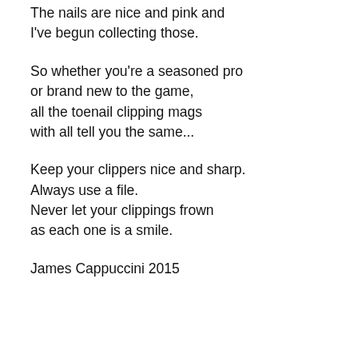The nails are nice and pink and
I've begun collecting those.
So whether you're a seasoned pro
or brand new to the game,
all the toenail clipping mags
with all tell you the same...
Keep your clippers nice and sharp.
Always use a file.
Never let your clippings frown
as each one is a smile.
James Cappuccini 2015